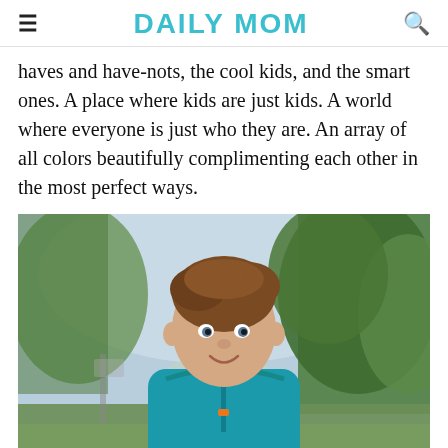DAILY MOM
haves and have-nots, the cool kids, and the smart ones. A place where kids are just kids. A world where everyone is just who they are. An array of all colors beautifully complimenting each other in the most perfect ways.
[Figure (photo): A young boy with brown hair smiling, wearing a teal/blue zip-up hoodie jacket, standing outdoors with green trees and blurred foliage in the background.]